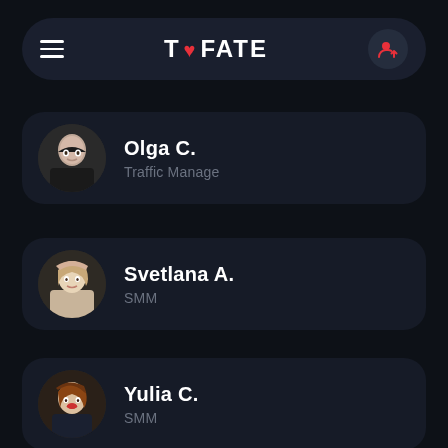TO FATE
Olga C. — Traffic Manage
Svetlana A. — SMM
Yulia C. — SMM